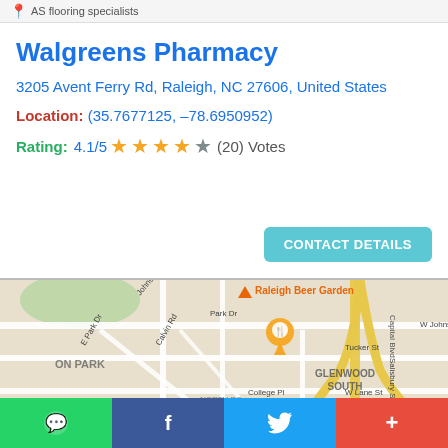AS flooring specialists
Walgreens Pharmacy
3205 Avent Ferry Rd, Raleigh, NC 27606, United States
Location: (35.7677125, –78.6950952)
Rating: 4.1/5 ★★★★☆ (20) Votes
[Figure (map): Street map of Raleigh area showing Glenwood South neighborhood, Capital Blvd, W Johnson St, Tucker St, W Lane St, E Park Dr, Calvin Rd, College Pl, Salisbury St, Park Dr, and labeled areas including Raleigh Beer Garden, Market at Peace, ON PARK, GLENWOOD SOUTH, NORTH RO... with an orange location pin marker.]
CONTACT DETAILS
WhatsApp icon | Facebook icon | Twitter icon | More icon